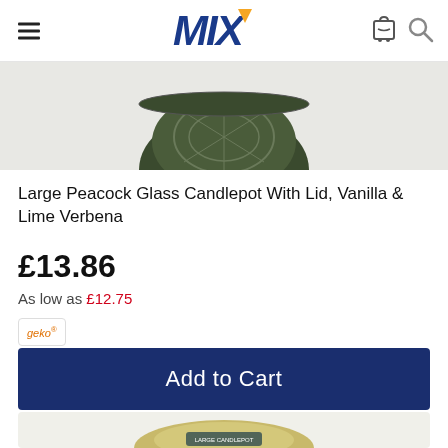MIX
[Figure (photo): Top portion of a dark green peacock glass candlepot with decorative pattern, viewed from above, partially cropped]
Large Peacock Glass Candlepot With Lid, Vanilla & Lime Verbena
£13.86
As low as £12.75
[Figure (logo): geko brand logo in orange italic text with small trademark symbol]
Add to Cart
[Figure (photo): Top portion of a gold/cream colored round candle product, partially visible at bottom of page]